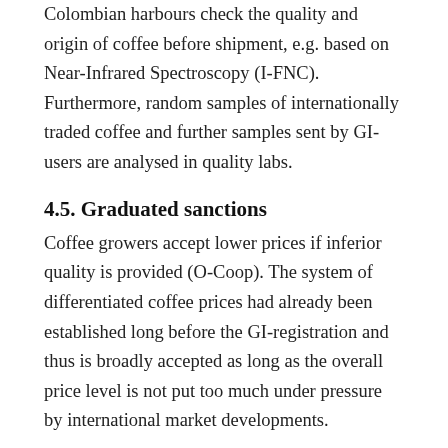Colombian harbours check the quality and origin of coffee before shipment, e.g. based on Near-Infrared Spectroscopy (I-FNC). Furthermore, random samples of internationally traded coffee and further samples sent by GI-users are analysed in quality labs.
4.5. Graduated sanctions
Coffee growers accept lower prices if inferior quality is provided (O-Coop). The system of differentiated coffee prices had already been established long before the GI-registration and thus is broadly accepted as long as the overall price level is not put too much under pressure by international market developments.
According to the rules for PGI-users who commercialise roasted or soluble coffee, minor and